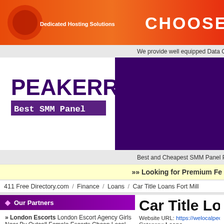[Figure (screenshot): Orange/red gradient hosting ad banner with logo and CHOOSE text]
We provide well equipped Data C
[Figure (screenshot): PEAKERR Best SMM Panel banner with purple background]
Best and Cheapest SMM Panel Providers for TikTok, Instagra
»» Looking for Premium Fe
411 Free Directory.com / Finance / Loans / Car Title Loans Fort Mill
Our Partners
Car Title Lo
Website URL: https://welocalpeople.co
Category: Loans
People with bad credit can still get car tit and, through our title loans in Fort Mill, S Apply for quick funds today or call us at 8
» London Escorts London Escort Agency Girls Near By Outcall Female Escorts Cheap Local Escorts
» PFBERNAL ABOGADOS EXTRANJERIA abogados extranjería, tramitacion permisos, recursos ante denegaciones, recurso denegación visado, recursos urgentes denegación renovación, despacho enfocado al resultado,cancelacion antecedentes penales, nacionalidad, expulsion
[Figure (infographic): PUT YOUR 46 / only $1/dire advertisement box]